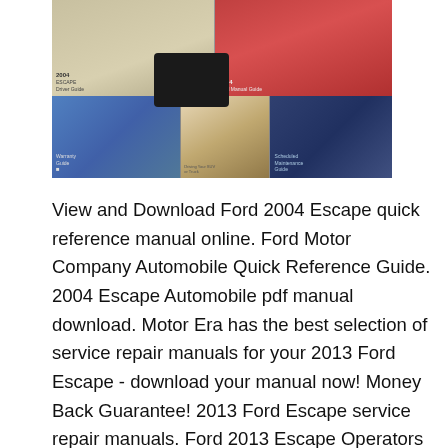[Figure (photo): Photo collage showing Ford Escape owner manuals, warranty guide, scheduled maintenance guide, and service booklets spread out together.]
View and Download Ford 2004 Escape quick reference manual online. Ford Motor Company Automobile Quick Reference Guide. 2004 Escape Automobile pdf manual download. Motor Era has the best selection of service repair manuals for your 2013 Ford Escape - download your manual now! Money Back Guarantee! 2013 Ford Escape service repair manuals. Ford 2013 Escape Operators Owners User Guide Manual; Ford